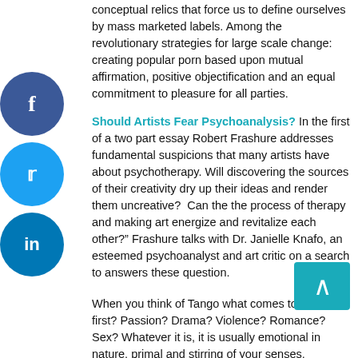conceptual relics that force us to define ourselves by mass marketed labels. Among the revolutionary strategies for large scale change: creating popular porn based upon mutual affirmation, positive objectification and an equal commitment to pleasure for all parties.
Should Artists Fear Psychoanalysis?
In the first of a two part essay Robert Frashure addresses fundamental suspicions that many artists have about psychotherapy. Will discovering the sources of their creativity dry up their ideas and render them uncreative? Can the the process of therapy and making art energize and revitalize each other?” Frashure talks with Dr. Janielle Knafo, an esteemed psychoanalyst and art critic on a search to answers these question.
When you think of Tango what comes to mind first? Passion? Drama? Violence? Romance? Sex? Whatever it is, it is usually emotional in nature, primal and stirring of your senses. Psychoanalyst and dancer Dr. Velleda Ceccoli discusses the complex history and language of Tango and shows us that it is as much about the relationship between partners as it is